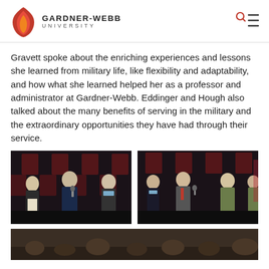GARDNER-WEBB UNIVERSITY
Gravett spoke about the enriching experiences and lessons she learned from military life, like flexibility and adaptability, and how what she learned helped her as a professor and administrator at Gardner-Webb. Eddinger and Hough also talked about the many benefits of serving in the military and the extraordinary opportunities they have had through their service.
[Figure (photo): Panel discussion photo 1: Three people seated on stage in front of Gardner-Webb branded backdrop, one speaking into a microphone.]
[Figure (photo): Panel discussion photo 2: Four people seated on stage, one in military uniform, one speaking into a microphone, Gardner-Webb branded backdrop.]
[Figure (photo): Partial view of audience or stage at the panel event.]